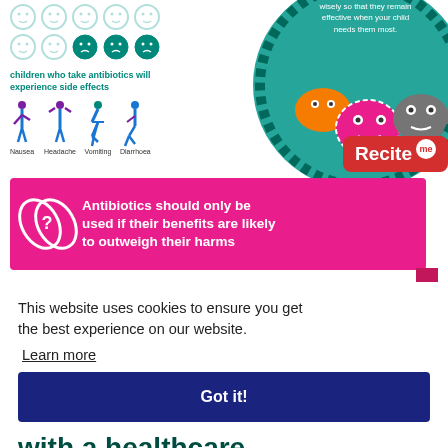[Figure (infographic): Top infographic showing smiley faces (some sad) representing children who take antibiotics experiencing side effects, with icons showing Nausea, Headache, Vomiting, Diarrhoea. Right side has a teal circle with germ characters and text about using antibiotics wisely.]
children who take antibiotics will experience side effects
Nausea  Headache  Vomiting  Diarrhoea
[Figure (infographic): Pink banner with pill icon and text: Antibiotics should only be used if their benefits are likely to outweigh their harms]
Antibiotics should only be used if their benefits are likely to outweigh their harms
This website uses cookies to ensure you get the best experience on our website.
Learn more
Got it!
with a healthcare